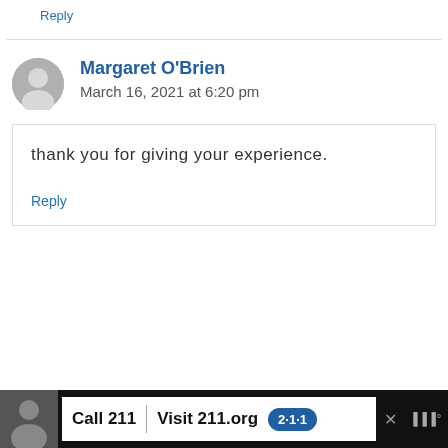Reply
Margaret O'Brien
March 16, 2021 at 6:20 pm
thank you for giving your experience.
Reply
[Figure (infographic): Advertisement banner at bottom: dark background with photo of a man, 'Call 211 | Visit 211.org' with blue 2-1-1 badge logo and close button]